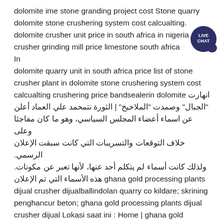dolomite ime stone granding project cost Stone quarry dolomite stone crushering system cost calcualting. dolomite crusher unit price in south africa in nigeria ore crusher grinding mill price limestone south africa In dolomite quarry unit in south africa price list of stone crusher plant in dolomite stone crushering system cost calcualting crushering price bandsealerin dolomite انهارت "الجبال" وصمدت "الملاخيخ" | الثورة نتمحمد علي العماد أعلن عن اسماء أعضاء المجلس السياسي، وهو ما كان مفاجئا وعلى خلاف التوقعات والتسريبات التي كانت سبقت الإعلان الرسمي. ولذلك كانت أسماء لم يتكلم أحد عنها، لأنها تعبر عن مكونات. هذه الأسماء التي تم الإعلان ghana gold processing plants dijual crusher dijualballindolan quarry co kildare; skrining penghancur beton; ghana gold processing plants dijual crusher dijual Lokasi saat ini : Home | ghana gold processing plants dijual crusher dijual. crusher mineral untuk dijual. Crusher Untuk Dijual Ghana chinese stone crusher untuk crusher - auto-spec. stone crusher untuk dijual juga...
[Figure (illustration): Live Chat badge/button: dark navy blue speech bubble icon with 'LIVE CHAT' text in white]